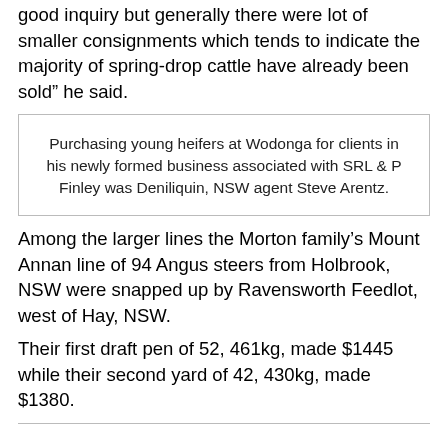good inquiry but generally there were lot of smaller consignments which tends to indicate the majority of spring-drop cattle have already been sold” he said.
Purchasing young heifers at Wodonga for clients in his newly formed business associated with SRL & P Finley was Deniliquin, NSW agent Steve Arentz.
Among the larger lines the Morton family’s Mount Annan line of 94 Angus steers from Holbrook, NSW were snapped up by Ravensworth Feedlot, west of Hay, NSW.
Their first draft pen of 52, 461kg, made $1445 while their second yard of 42, 430kg, made $1380.